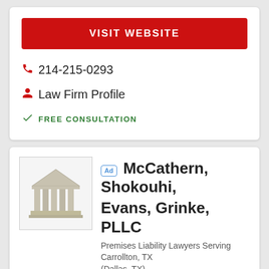VISIT WEBSITE
214-215-0293
Law Firm Profile
FREE CONSULTATION
McCathern, Shokouhi, Evans, Grinke, PLLC
Premises Liability Lawyers Serving Carrollton, TX (Dallas, TX)
Improving People's Lives
Past client? Leave a review.
18  Super Lawyers*